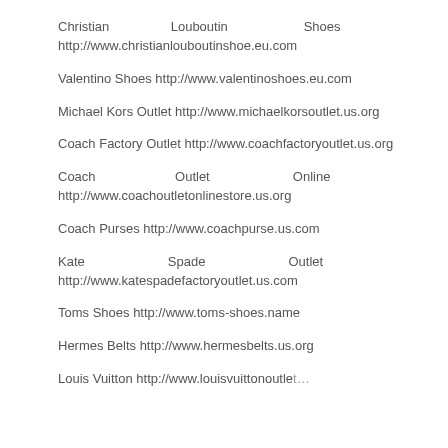Christian Louboutin Shoes http://www.christianlouboutinshoe.eu.com
Valentino Shoes http://www.valentinoshoes.eu.com
Michael Kors Outlet http://www.michaelkorsoutlet.us.org
Coach Factory Outlet http://www.coachfactoryoutlet.us.org
Coach Outlet Online http://www.coachoutletonlinestore.us.org
Coach Purses http://www.coachpurse.us.com
Kate Spade Outlet http://www.katespadefactoryoutlet.us.com
Toms Shoes http://www.toms-shoes.name
Hermes Belts http://www.hermesbelts.us.org
Louis Vuitton http://www.louisvuittonoutlet...